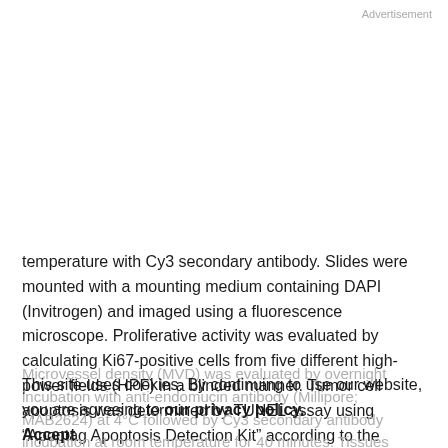Advertisement
temperature with Cy3 secondary antibody. Slides were mounted with a mounting medium containing DAPI (Invitrogen) and imaged using a fluorescence microscope. Proliferative activity was evaluated by calculating Ki67-positive cells from five different high-power fields (HPF) in a blinded manner. Tumor cell apoptosis was determined by TUNEL assay using “Apoptag Apoptosis Detection Kit” according to the manufacturer’s (Millipore) instructions.
Microvessel density (MVD) was evaluated by overnight incubation with anti-endomucin antibody (Millipore; MAB2624) at 4°C followed by Cy3 secondary antibody incubation at room temperature for 40 minutes. Tissues
This site uses cookies. By continuing to use our website, you are agreeing to our privacy policy.
Accept